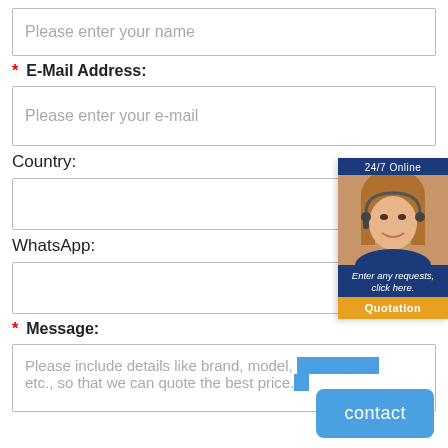Please enter your name
* E-Mail Address:
Please enter your e-mail
Country:
WhatsApp:
* Message:
Please include details like brand, model, quantity and etc., so that we can quote the best price.
[Figure (illustration): 24/7 Online customer service widget showing a woman with headset, text 'Enter any requests, click here.' and an orange Quotation button]
contact